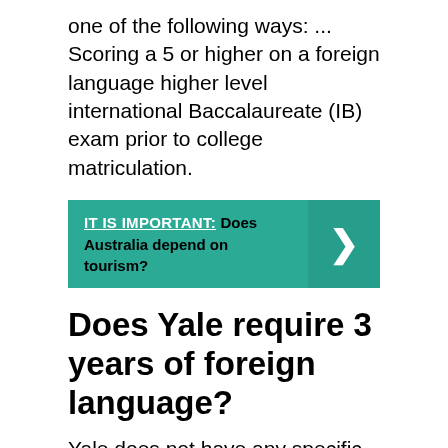one of the following ways: ... Scoring a 5 or higher on a foreign language higher level international Baccalaureate (IB) exam prior to college matriculation.
[Figure (infographic): Teal callout box with text 'IT IS IMPORTANT: Does Australia depend on tourism?' and a right-facing chevron arrow on the right side on a darker teal background.]
Does Yale require 3 years of foreign language?
Yale does not have any specific entrance requirements (for example, there is no foreign language requirement for admission to Yale). ... Generally speaking, you should try to take courses each year in English, science, math, the social sciences, and